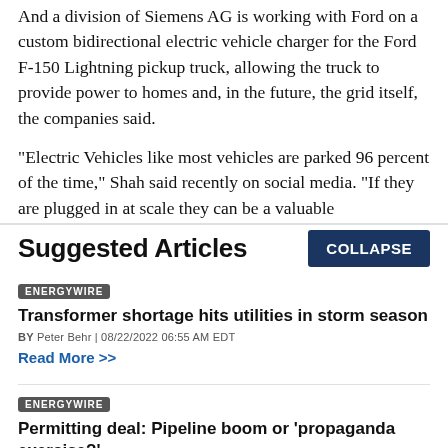And a division of Siemens AG is working with Ford on a custom bidirectional electric vehicle charger for the Ford F-150 Lightning pickup truck, allowing the truck to provide power to homes and, in the future, the grid itself, the companies said.
“Electric Vehicles like most vehicles are parked 96 percent of the time,” Shah said recently on social media. “If they are plugged in at scale they can be a valuable
Suggested Articles
COLLAPSE
ENERGYWIRE
Transformer shortage hits utilities in storm season
BY Peter Behr | 08/22/2022 06:55 AM EDT
Read More >>
ENERGYWIRE
Permitting deal: Pipeline boom or ‘propaganda exercise?’